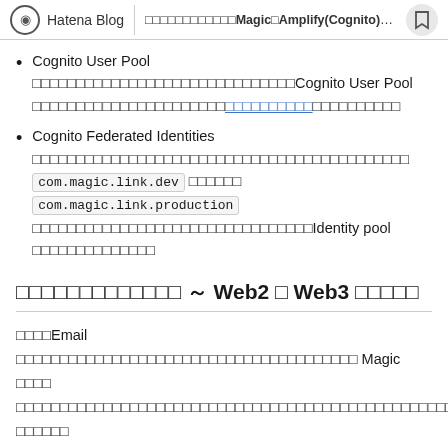Hatena Blog | □□□□□□□□□□□□Magic□Amplify(Cognito)□□...
Cognito User Pool □□□□□□□□□□□□□□□□□□□□□□□□□□□□Cognito User Pool □□□□□□□□□□□□□□□□□□□□□□□□□□□□□□□□□□□□□□□□
Cognito Federated Identities □□□□□□□□□□□□□□□□□□□□□□□□□□□□□□□□□□□□□□□□□□□□ com.magic.link.dev □□□□□□ com.magic.link.production □□□□□□□□□□□□□□□□□□□□□□□□□□□□□□□□Identity pool □□□□□□□□□□□□□□
□□□□□□□□□□□□□ ～ Web2 □ Web3 □□□□□
□□□□Email □□□□□□□□□□□□□□□□□□□□□□□□□□□□□□□□□□□□□□□ Magic □□□□□□□□□□□□□□□□□□□□□□□□□□□□□□□□□□□□□□□□□□□□□□□□□□□□□□□□□□Web3 □□□□□□□□□□□□□□□□□□□□□□□□□□□□□□□□□□□□□□□□□□□□□□□□□□□□□□□□□□□□□□□□□□□□□□□□□□□□□□□□□□□□□□□□□□□□□□□□□□□□□□□□□□□□□□□□□!